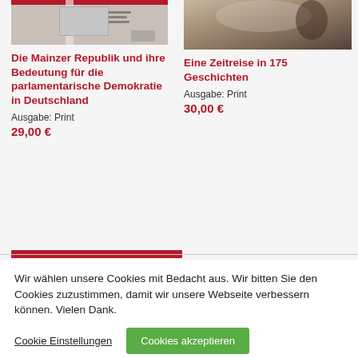[Figure (photo): Book cover of 'Die Mainzer Republik und ihre Bedeutung für die parlamentarische Demokratie in Deutschland' with authors Hans Berkessel, Michael Matheus, Kai-Michael Sprenger and publisher logo]
Die Mainzer Republik und ihre Bedeutung für die parlamentarische Demokratie in Deutschland
Ausgabe: Print
29,00 €
[Figure (photo): Book cover of 'Eine Zeitreise in 175 Geschichten' showing a historical painting of a person]
Eine Zeitreise in 175 Geschichten
Ausgabe: Print
30,00 €
Wir wählen unsere Cookies mit Bedacht aus. Wir bitten Sie den Cookies zuzustimmen, damit wir unsere Webseite verbessern können. Vielen Dank.
Cookie Einstellungen
Cookies akzeptieren